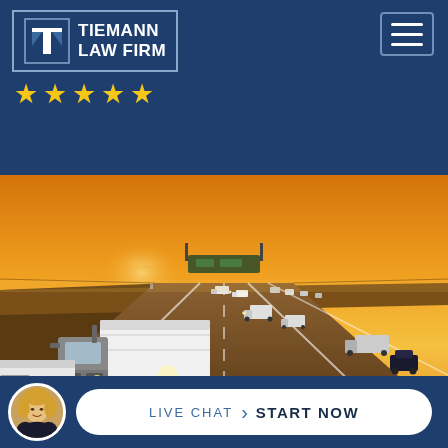Tiemann Law Firm — 5 stars — navigation header
[Figure (photo): Highway at sunset with multiple large semi-trucks and cars traveling on a multi-lane highway, warm golden-orange sky]
LIVE CHAT › START NOW